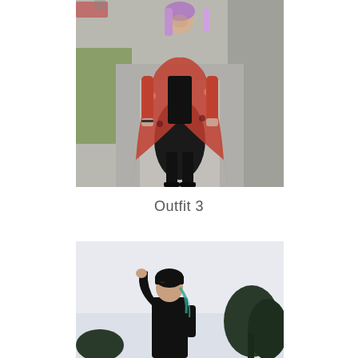[Figure (photo): Person with purple/pink hair wearing a black outfit with a floral/patterned kimono-style cardigan, black leggings and boots, standing on a sidewalk path next to a stone wall with grass and trees in the background.]
Outfit 3
[Figure (photo): Person wearing all black clothing including a black beanie/hat, posing with one arm raised near their head, outdoors with trees and a pale sky in the background.]